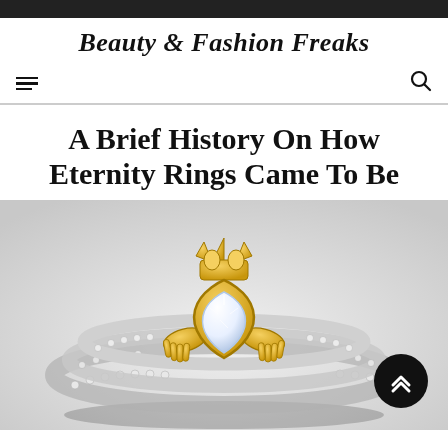Beauty & Fashion Freaks
A Brief History On How Eternity Rings Came To Be
[Figure (photo): Close-up photo of a diamond and gold Claddagh eternity ring set with pavé band, featuring a heart-shaped diamond held by gold hands, topped with a gold crown, on a white background.]